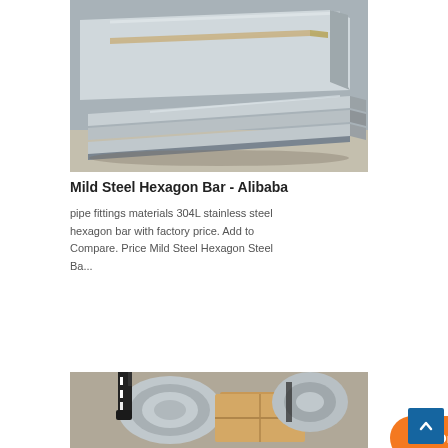[Figure (photo): Photo of stacked mild steel flat plates/sheets showing metal surface and edges]
Mild Steel Hexagon Bar - Alibaba
pipe fittings materials 304L stainless steel hexagon bar with factory price. Add to Compare. Price Mild Steel Hexagon Steel Ba...
[Figure (infographic): Orange 'Online Quote' speech bubble with arrow pointing right to orange email/envelope circle button]
[Figure (photo): Photo of steel coils/rolls with a person standing nearby, partially visible at bottom of page]